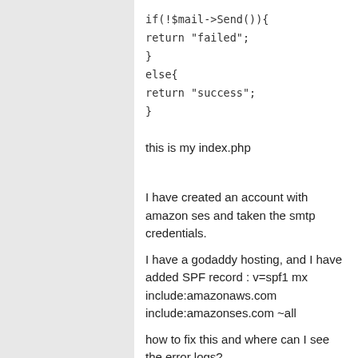if(!$mail->Send()){
return "failed";
}
else{
return "success";
}
this is my index.php
I have created an account with amazon ses and taken the smtp credentials.
I have a godaddy hosting, and I have added SPF record : v=spf1 mx include:amazonaws.com include:amazonses.com ~all
how to fix this and where can I see the error logs?
But I am unable to send the mail, can you please guide me its urgent